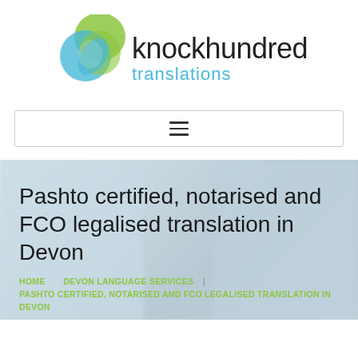[Figure (logo): Knockhundred Translations logo: overlapping blue and green circle shapes forming a globe/swirl icon, with text 'knockhundred' in dark color and 'translations' in light blue]
[Figure (other): Navigation bar with hamburger menu icon (three horizontal lines)]
Pashto certified, notarised and FCO legalised translation in Devon
HOME  DEVON LANGUAGE SERVICES  |  PASHTO CERTIFIED, NOTARISED AND FCO LEGALISED TRANSLATION IN DEVON